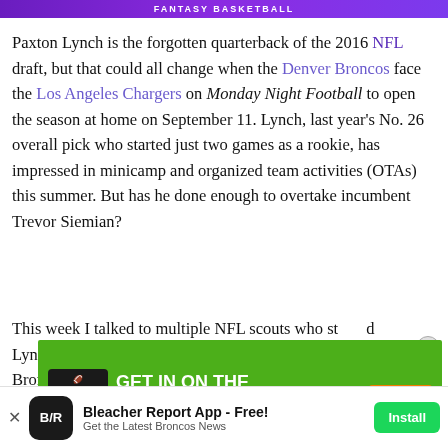[Figure (other): Purple banner with 'FANTASY BASKETBALL' text]
Paxton Lynch is the forgotten quarterback of the 2016 NFL draft, but that could all change when the Denver Broncos face the Los Angeles Chargers on Monday Night Football to open the season at home on September 11. Lynch, last year's No. 26 overall pick who started just two games as a rookie, has impressed in minicamp and organized team activities (OTAs) this summer. But has he done enough to overtake incumbent Trevor Siemian?
This week I talked to multiple NFL scouts who st...d Lynch ... Bronco...
[Figure (other): DraftKings NFL ad: GET IN ON THE NFL ACTION - BET NOW]
[Figure (other): Bleacher Report App install banner - Free! Get the Latest Broncos News]